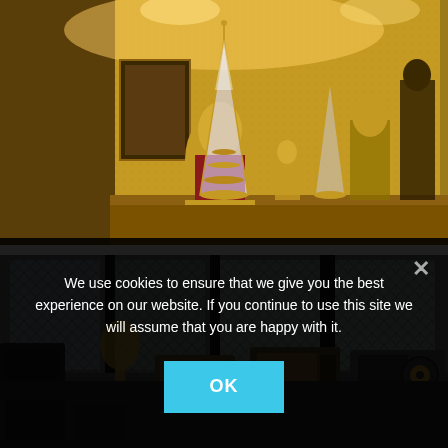[Figure (photo): A lit shrine cabinet with golden Buddhist statues, ornate crystal pagodas, figurines, and decorative religious objects against a gold textured background.]
[Figure (photo): A collection of vintage radios and electronic devices arranged on a shelf or table in front of a window with diamond-wire mesh glass, in a dark warehouse-like interior.]
We use cookies to ensure that we give you the best experience on our website. If you continue to use this site we will assume that you are happy with it.